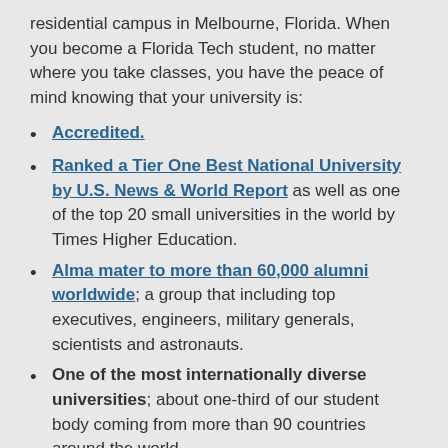residential campus in Melbourne, Florida. When you become a Florida Tech student, no matter where you take classes, you have the peace of mind knowing that your university is:
Accredited.
Ranked a Tier One Best National University by U.S. News & World Report as well as one of the top 20 small universities in the world by Times Higher Education.
Alma mater to more than 60,000 alumni worldwide; a group that including top executives, engineers, military generals, scientists and astronauts.
One of the most internationally diverse universities; about one-third of our student body coming from more than 90 countries around the world.